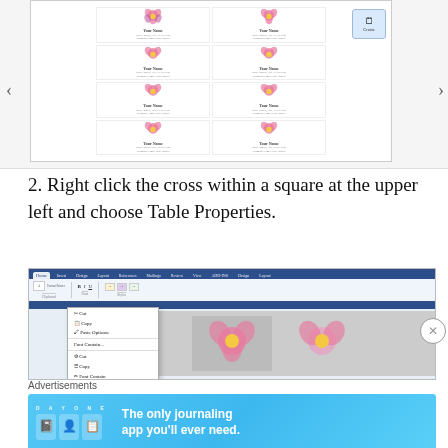[Figure (screenshot): Screenshot of a business card template in a Microsoft Word-like interface, showing a grid of 8 business cards with pink flower logos and 'Your Name' placeholder text. Navigation arrows on left and right. A 'Create' button visible in the upper right of the panel.]
2. Right click the cross within a square at the upper left and choose Table Properties.
[Figure (screenshot): Screenshot of Microsoft Word showing the Home ribbon tab with a right-click context menu open, displaying options including Cut, Copy, Paste Options, Insert, Delete Cells, and Table Properties. The document shows business card content with pink flower images.]
Advertisements
[Figure (infographic): Day One journaling app advertisement banner with light blue background showing 'DAY ONE' logo, three app icons (notebook, person, checklist), and text 'The only journaling app you'll ever need.']